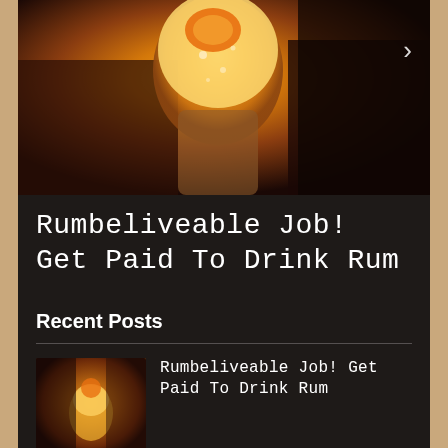[Figure (photo): A cocktail drink in a yellow/orange glass being held, with people in the background. A navigation arrow (>) is visible on the right side.]
Rumbeliveable Job! Get Paid To Drink Rum
Recent Posts
[Figure (photo): Thumbnail photo of people at a bar/restaurant with drinks, used as a thumbnail for the recent post.]
Rumbeliveable Job! Get Paid To Drink Rum